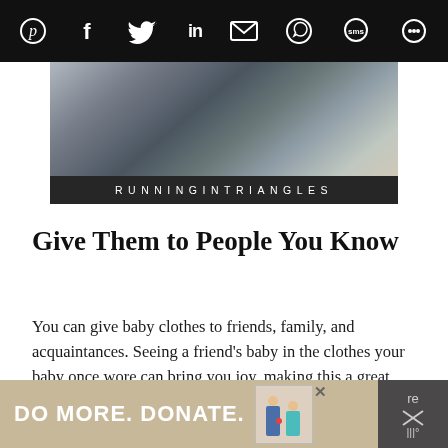Social share toolbar with icons: Pinterest, Facebook, Twitter, LinkedIn, Email, WhatsApp, SMS, other
[Figure (photo): Cropped photo of a person lying in bed with pillows, wearing jeans and grey clothing. Below the image is a black banner with the text RUNNINGINTRIANGLES in spaced white letters.]
Give Them to People You Know
You can give baby clothes to friends, family, and acquaintances. Seeing a friend's baby in the clothes your baby once wore can bring you joy, making this a great thing to do with your outgrown baby clothes.
[Figure (infographic): Advertisement banner reading DO MORE. DONATE. with illustrated figures and a close button (X).]